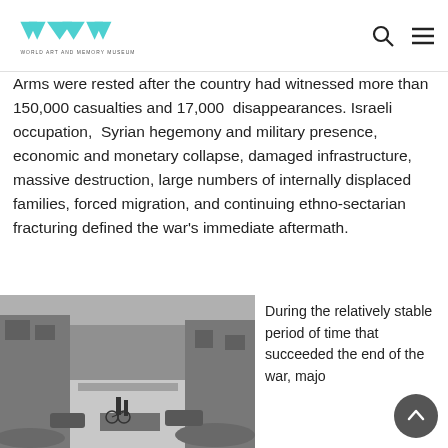WORLD ART AND MEMORY MUSEUM
Arms were rested after the country had witnessed more than 150,000 casualties and 17,000 disappearances. Israeli occupation, Syrian hegemony and military presence, economic and monetary collapse, damaged infrastructure, massive destruction, large numbers of internally displaced families, forced migration, and continuing ethno-sectarian fracturing defined the war's immediate aftermath.
[Figure (photo): Black and white photograph of a destroyed urban street scene with two people standing near a bicycle amid rubble and ruined buildings]
During the relatively stable period of time that succeeded the end of the war, majo